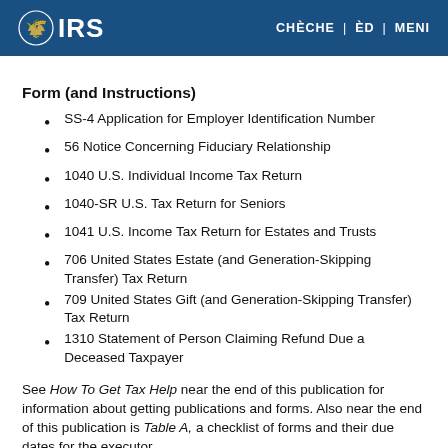IRS | CHÈCHE | ÈD | MENI
Form (and Instructions)
SS-4 Application for Employer Identification Number
56 Notice Concerning Fiduciary Relationship
1040 U.S. Individual Income Tax Return
1040-SR U.S. Tax Return for Seniors
1041 U.S. Income Tax Return for Estates and Trusts
706 United States Estate (and Generation-Skipping Transfer) Tax Return
709 United States Gift (and Generation-Skipping Transfer) Tax Return
1310 Statement of Person Claiming Refund Due a Deceased Taxpayer
See How To Get Tax Help near the end of this publication for information about getting publications and forms. Also near the end of this publication is Table A, a checklist of forms and their due dates for the executor.